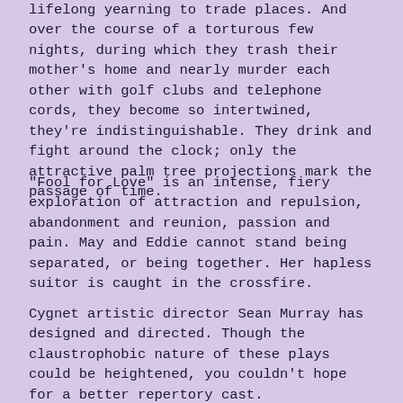lifelong yearning to trade places. And over the course of a torturous few nights, during which they trash their mother's home and nearly murder each other with golf clubs and telephone cords, they become so intertwined, they're indistinguishable. They drink and fight around the clock; only the attractive palm tree projections mark the passage of time.
"Fool for Love" is an intense, fiery exploration of attraction and repulsion, abandonment and reunion, passion and pain. May and Eddie cannot stand being separated, or being together. Her hapless suitor is caught in the crossfire.
Cygnet artistic director Sean Murray has designed and directed. Though the claustrophobic nature of these plays could be heightened, you couldn't hope for a better repertory cast.